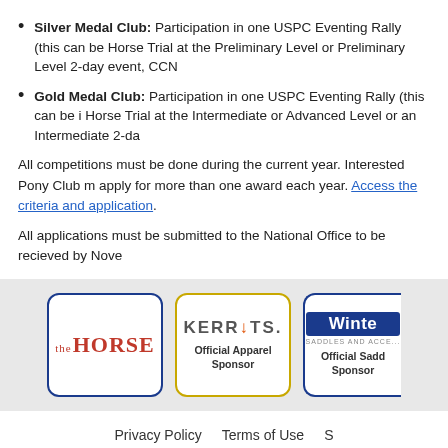Silver Medal Club: Participation in one USPC Eventing Rally (this can be Horse Trial at the Preliminary Level or Preliminary Level 2-day event, CCN
Gold Medal Club: Participation in one USPC Eventing Rally (this can be Horse Trial at the Intermediate or Advanced Level or an Intermediate 2-da
All competitions must be done during the current year. Interested Pony Club m apply for more than one award each year. Access the criteria and application.
All applications must be submitted to the National Office to be recieved by Nove
[Figure (logo): The Horse logo (sponsor box, navy border)]
[Figure (logo): KERRITS Official Apparel Sponsor logo (sponsor box, gold border)]
[Figure (logo): Winte (Winter) Official Saddle Sponsor logo (sponsor box, navy border, partially cropped)]
Privacy Policy   Terms of Use   S
© 2022 The United States Pony Clubs,